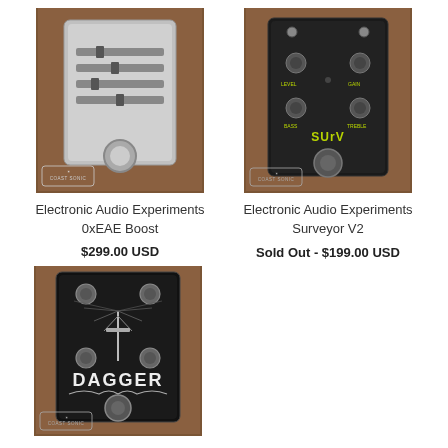[Figure (photo): Electronic Audio Experiments 0xEAE Boost guitar pedal - silver/aluminum enclosure with knobs, Coast Sonic watermark]
[Figure (photo): Electronic Audio Experiments Surveyor V2 guitar pedal - black enclosure with yellow text and knobs, Coast Sonic watermark]
Electronic Audio Experiments 0xEAE Boost
$299.00 USD
Electronic Audio Experiments Surveyor V2
Sold Out - $199.00 USD
[Figure (photo): Electronic Audio Experiments Dagger guitar pedal - dark enclosure with dagger graphic and knobs, Coast Sonic watermark]